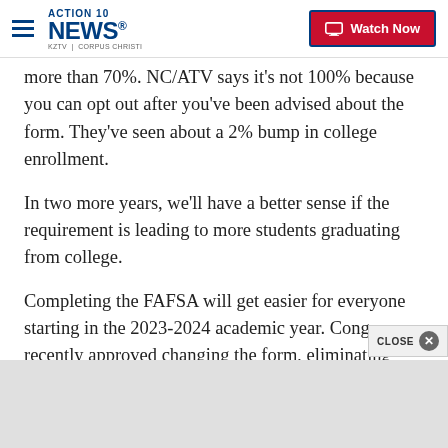Action 10 News - KZTV | Corpus Christi | Watch Now
more than 70%. NC/ATV says it's not 100% because you can opt out after you've been advised about the form. They've seen about a 2% bump in college enrollment.
In two more years, we'll have a better sense if the requirement is leading to more students graduating from college.
Completing the FAFSA will get easier for everyone starting in the 2023-2024 academic year. Congress recently approved changing the form, eliminating some questions, which should make it a faster and